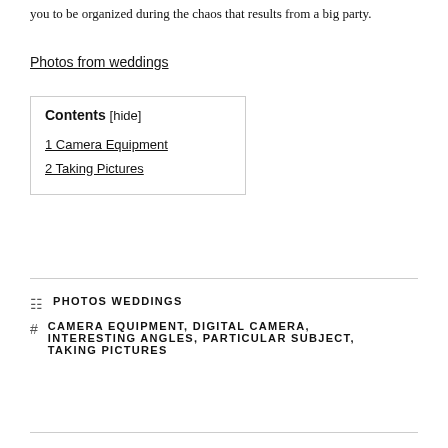you to be organized during the chaos that results from a big party.
Photos from weddings
| Contents [hide] |
| --- |
| 1 Camera Equipment |
| 2 Taking Pictures |
PHOTOS WEDDINGS
CAMERA EQUIPMENT, DIGITAL CAMERA, INTERESTING ANGLES, PARTICULAR SUBJECT, TAKING PICTURES